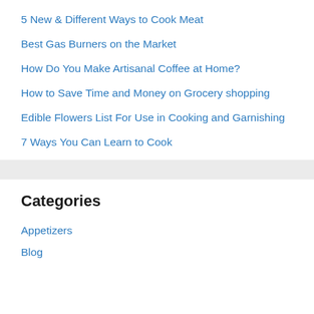5 New & Different Ways to Cook Meat
Best Gas Burners on the Market
How Do You Make Artisanal Coffee at Home?
How to Save Time and Money on Grocery shopping
Edible Flowers List For Use in Cooking and Garnishing
7 Ways You Can Learn to Cook
Categories
Appetizers
Blog